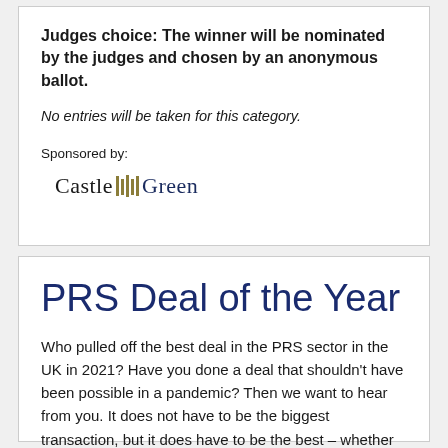Judges choice: The winner will be nominated by the judges and chosen by an anonymous ballot.
No entries will be taken for this category.
Sponsored by:
[Figure (logo): Castle Green logo with vertical bar divider between 'Castle' and 'Green' text]
PRS Deal of the Year
Who pulled off the best deal in the PRS sector in the UK in 2021? Have you done a deal that shouldn't have been possible in a pandemic? Then we want to hear from you. It does not have to be the biggest transaction, but it does have to be the best – whether